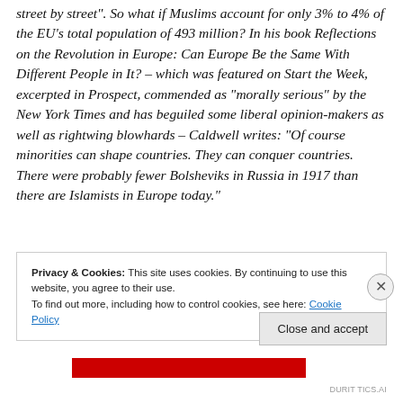street by street". So what if Muslims account for only 3% to 4% of the EU’s total population of 493 million? In his book Reflections on the Revolution in Europe: Can Europe Be the Same With Different People in It? – which was featured on Start the Week, excerpted in Prospect, commended as “morally serious” by the New York Times and has beguiled some liberal opinion-makers as well as rightwing blowhards – Caldwell writes: “Of course minorities can shape countries. They can conquer countries. There were probably fewer Bolsheviks in Russia in 1917 than there are Islamists in Europe today.”
Privacy & Cookies: This site uses cookies. By continuing to use this website, you agree to their use.
To find out more, including how to control cookies, see here: Cookie Policy
Close and accept